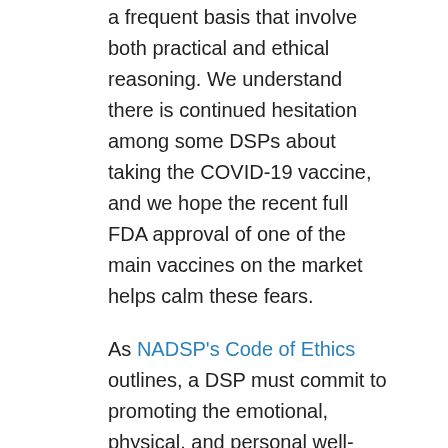a frequent basis that involve both practical and ethical reasoning. We understand there is continued hesitation among some DSPs about taking the COVID-19 vaccine, and we hope the recent full FDA approval of one of the main vaccines on the market helps calm these fears.
As NADSP's Code of Ethics outlines, a DSP must commit to promoting the emotional, physical, and personal well-being of the people they support. DSPs must encourage personal growth and recognize the autonomy of individuals with disabilities receiving support while also being proactive and vigilant in protecting public health. To maintain the promise of partnership and respect that must exist in a supportive relationship, a strong ethical foundation is critical to help DSPs navigate through the maze of influences that has shaped the current COVID-19 and...